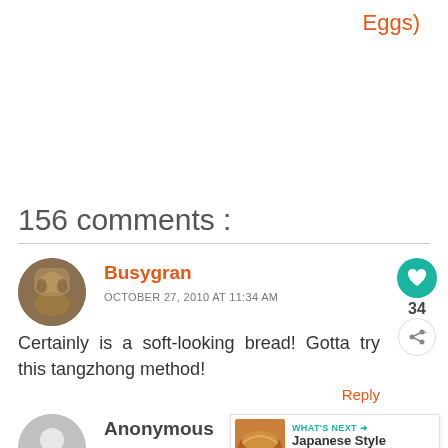Eggs)
156 comments :
Busygran
OCTOBER 27, 2010 AT 11:34 AM
Certainly is a soft-looking bread! Gotta try this tangzhong method!
Reply
Anonymous
OCTOBER 27, 2010 AT 1:08 PM
[Figure (infographic): What's Next panel with croissant/bread image and text 'Japanese Style Bacon...']